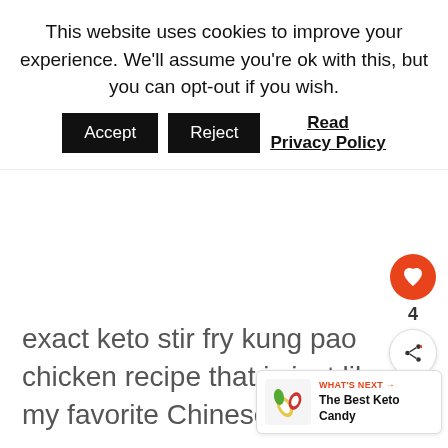This website uses cookies to improve your experience. We'll assume you're ok with this, but you can opt-out if you wish. Accept Reject Read Privacy Policy
exact keto stir fry kung pao chicken recipe that is just like my favorite Chinese restaurant.
[Figure (infographic): Floating action buttons: heart icon (red circle) with count 4, and share icon (white circle). 'WHAT'S NEXT' bar with candy image, label 'WHAT'S NEXT →', and text 'The Best Keto Candy']